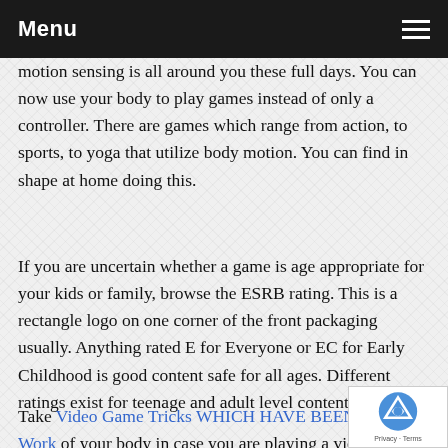Menu
motion sensing is all around you these full days. You can now use your body to play games instead of only a controller. There are games which range from action, to sports, to yoga that utilize body motion. You can find in shape at home doing this.
If you are uncertain whether a game is age appropriate for your kids or family, browse the ESRB rating. This is a rectangle logo on one corner of the front packaging usually. Anything rated E for Everyone or EC for Early Childhood is good content safe for all ages. Different ratings exist for teenage and adult level contents.
Take Video Game Tricks WHICH HAVE BEEN Proven Work of your body in case you are playing a video game.